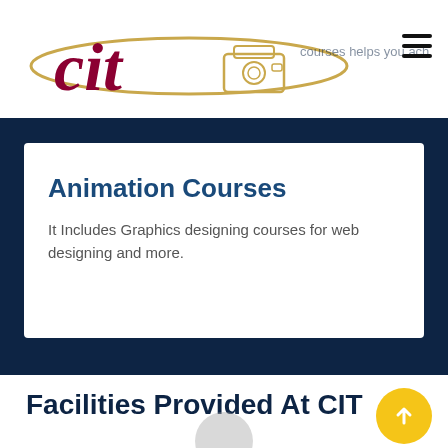CIT logo and navigation header
Animation Courses
It Includes Graphics designing courses for web designing and more.
Facilities Provided At CIT